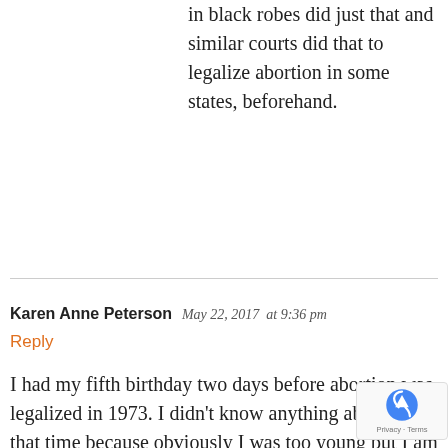in black robes did just that and similar courts did that to legalize abortion in some states, beforehand.
Karen Anne Peterson  May 22, 2017  at 9:36 pm
Reply
I had my fifth birthday two days before abortion was legalized in 1973. I didn't know anything about it at that time because obviously I was too young but I am very opposed to it and I have attended three or four Walks For Life in Lincoln, Nebraska where I used to live. I am glad that my two sisters, my